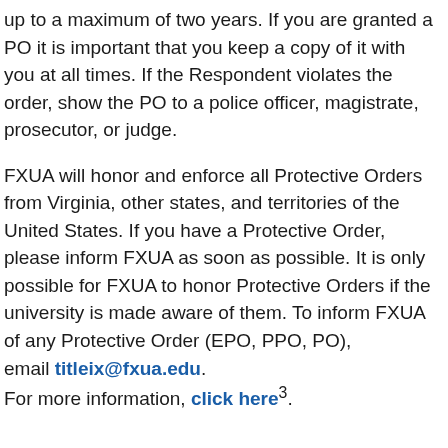up to a maximum of two years. If you are granted a PO it is important that you keep a copy of it with you at all times. If the Respondent violates the order, show the PO to a police officer, magistrate, prosecutor, or judge.
FXUA will honor and enforce all Protective Orders from Virginia, other states, and territories of the United States. If you have a Protective Order, please inform FXUA as soon as possible. It is only possible for FXUA to honor Protective Orders if the university is made aware of them. To inform FXUA of any Protective Order (EPO, PPO, PO), email titleix@fxua.edu. For more information, click here³.